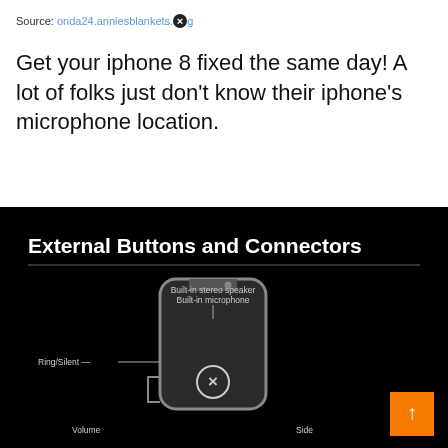Source: onda24.anniesblankets.org
Get your iphone 8 fixed the same day! A lot of folks just don't know their iphone's microphone location.
[Figure (infographic): Black infographic titled 'External Buttons and Connectors' showing an iPhone diagram with labels: Built-in stereo speaker, Built-in microphone, Ring/Silent, Volume, Side. An orange scroll-to-top button is in the bottom right corner.]